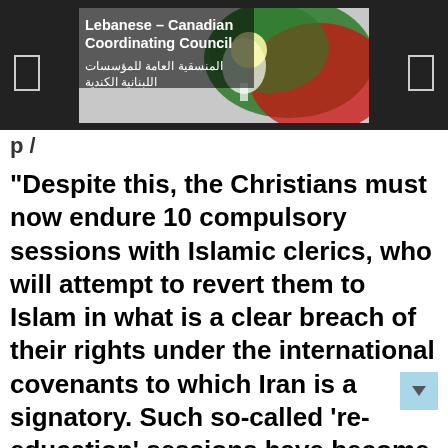Lebanese-Canadian Coordinating Council
p /
“Despite this, the Christians must now endure 10 compulsory sessions with Islamic clerics, who will attempt to revert them to Islam in what is a clear breach of their rights under the international covenants to which Iran is a signatory. Such so-called ‘re-education’ sessions have become much more common in recent years, even appearing in the list of ‘corrective punishments’ on official court papers…”